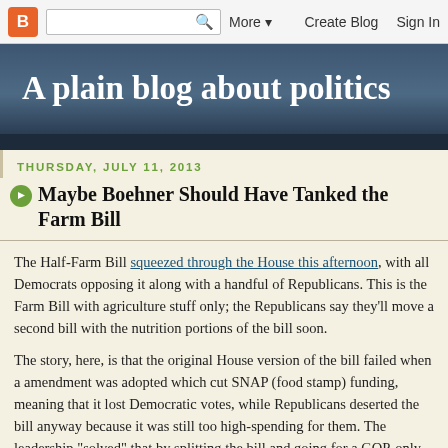Blogger navigation bar with search, More, Create Blog, Sign In
A plain blog about politics
THURSDAY, JULY 11, 2013
Maybe Boehner Should Have Tanked the Farm Bill
The Half-Farm Bill squeezed through the House this afternoon, with all Democrats opposing it along with a handful of Republicans. This is the Farm Bill with agriculture stuff only; the Republicans say they'll move a second bill with the nutrition portions of the bill soon.
The story, here, is that the original House version of the bill failed when a amendment was adopted which cut SNAP (food stamp) funding, meaning that it lost Democratic votes, while Republicans deserted the bill anyway because it was still too high-spending for them. The leadership "solved" that by splitting the bill and going for a GOP-only 218, and after (reported) heavy lobbing, they got over the bar.
Whether that's smart politics for John Boehner is better off with this...